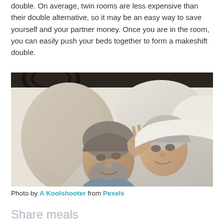double. On average, twin rooms are less expensive than their double alternative, so it may be an easy way to save yourself and your partner money. Once you are in the room, you can easily push your beds together to form a makeshift double.
[Figure (photo): An elderly couple lying in bed facing each other, smiling and touching foreheads/hands, with white pillows and blankets around them.]
Photo by A Koolshooter from Pexels
Share meals